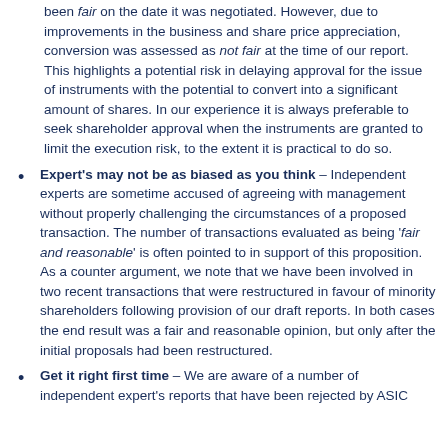been fair on the date it was negotiated.  However, due to improvements in the business and share price appreciation, conversion was assessed as not fair at the time of our report.  This highlights a potential risk in delaying approval for the issue of instruments with the potential to convert into a significant amount of shares.  In our experience it is always preferable to seek shareholder approval when the instruments are granted to limit the execution risk, to the extent it is practical to do so.
Expert's may not be as biased as you think – Independent experts are sometime accused of agreeing with management without properly challenging the circumstances of a proposed transaction.  The number of transactions evaluated as being 'fair and reasonable' is often pointed to in support of this proposition.  As a counter argument, we note that we have been involved in two recent transactions that were restructured in favour of minority shareholders following provision of our draft reports.  In both cases the end result was a fair and reasonable opinion, but only after the initial proposals had been restructured.
Get it right first time – We are aware of a number of independent expert's reports that have been rejected by ASIC